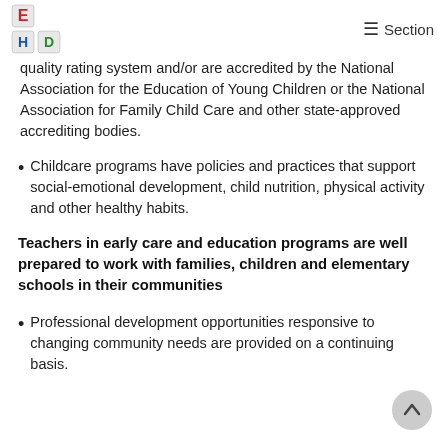Section
quality rating system and/or are accredited by the National Association for the Education of Young Children or the National Association for Family Child Care and other state-approved accrediting bodies.
Childcare programs have policies and practices that support social-emotional development, child nutrition, physical activity and other healthy habits.
Teachers in early care and education programs are well prepared to work with families, children and elementary schools in their communities
Professional development opportunities responsive to changing community needs are provided on a continuing basis.